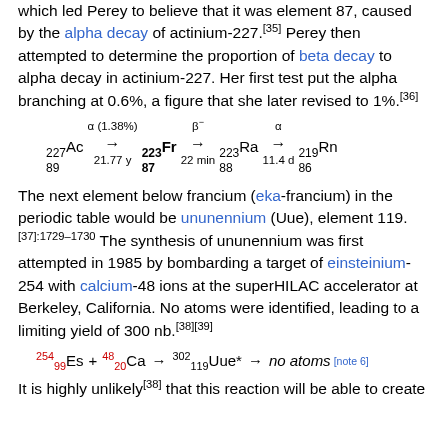which led Perey to believe that it was element 87, caused by the alpha decay of actinium-227.[35] Perey then attempted to determine the proportion of beta decay to alpha decay in actinium-227. Her first test put the alpha branching at 0.6%, a figure that she later revised to 1%.[36]
The next element below francium (eka-francium) in the periodic table would be ununennium (Uue), element 119.[37]:1729–1730 The synthesis of ununennium was first attempted in 1985 by bombarding a target of einsteinium-254 with calcium-48 ions at the superHILAC accelerator at Berkeley, California. No atoms were identified, leading to a limiting yield of 300 nb.[38][39]
It is highly unlikely[38] that this reaction will be able to create